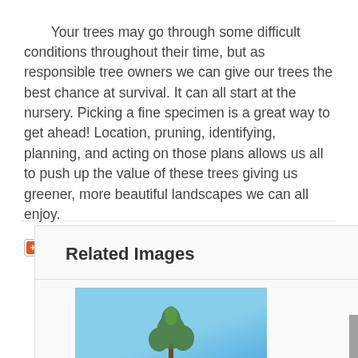Your trees may go through some difficult conditions throughout their time, but as responsible tree owners we can give our trees the best chance at survival. It can all start at the nursery. Picking a fine specimen is a great way to get ahead! Location, pruning, identifying, planning, and acting on those plans allows us all to push up the value of these trees giving us greener, more beautiful landscapes we can all enjoy.
[Figure (screenshot): Share button widget with Facebook, Twitter, email and more icons]
Related Images
[Figure (photo): Photo of a tree against a blue sky with clouds]